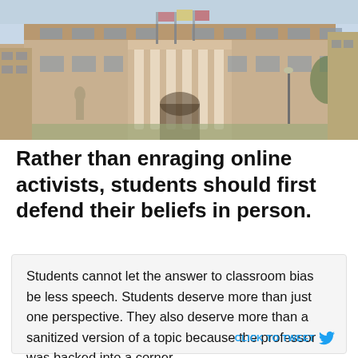[Figure (photo): Exterior photo of a large university or civic building with classical columns, stone facade, flags, and a statue in front. Blue sky visible.]
Rather than enraging online activists, students should first defend their beliefs in person.
Students cannot let the answer to classroom bias be less speech. Students deserve more than just one perspective. They also deserve more than a sanitized version of a topic because the professor was backed into a corner.